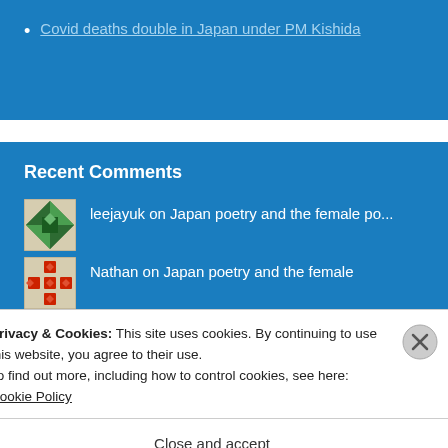Covid deaths double in Japan under PM Kishida
Recent Comments
leejayuk on Japan poetry and the female po...
Nathan on Japan poetry and the female
Privacy & Cookies: This site uses cookies. By continuing to use this website, you agree to their use.
To find out more, including how to control cookies, see here: Cookie Policy
Close and accept